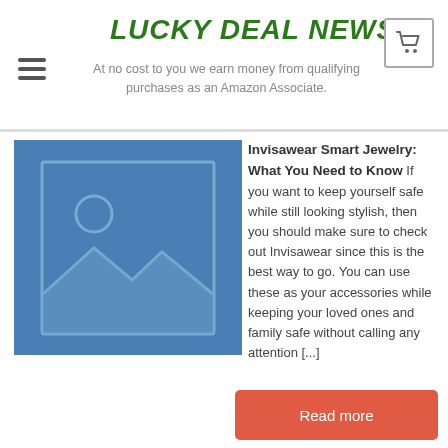LUCKY DEAL NEWS
At no cost to you we earn money from qualifying purchases as an Amazon Associate.
[Figure (photo): Blue placeholder image with generic image icon (circle sun and mountain landscape outline)]
Invisawear Smart Jewelry: What You Need to Know If you want to keep yourself safe while still looking stylish, then you should make sure to check out Invisawear since this is the best way to go. You can use these as your accessories while keeping your loved ones and family safe without calling any attention [...]
Read more